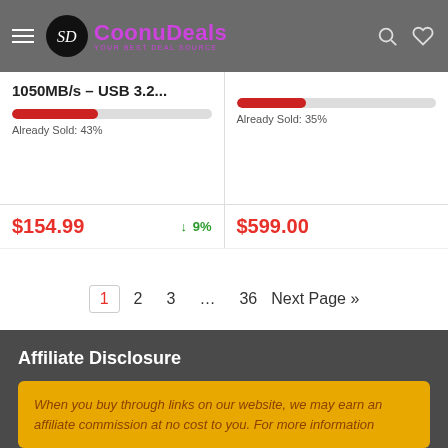CoonuDeals - YOUR BEST DEAL SOURCE
1050MB/s – USB 3.2...
Already Sold: 43%
Already Sold: 35%
$154.99  ↓ 9%
$599.00
1  2  3  …  36  Next Page »
Affiliate Disclosure
When you buy through links on our website, we may earn an affiliate commission at no cost to you. For more information